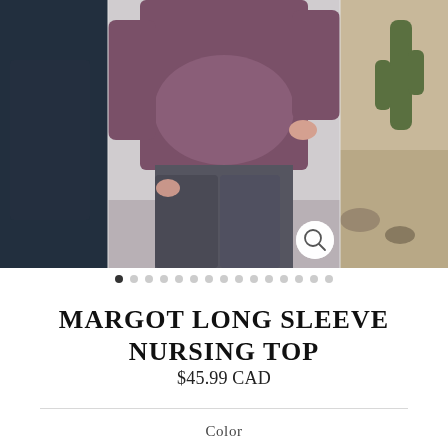[Figure (photo): Product image carousel showing a pregnant woman wearing a mauve/plum long sleeve nursing top with dark leggings. Left panel shows a dark image partially visible, center shows main product photo, right panel shows a cactus/desert scene partially visible. A magnifying glass search icon appears in the bottom right of the center image.]
[Figure (other): Carousel dot indicators: 15 dots total, first dot is filled/dark (active), remaining 14 are light grey (inactive).]
MARGOT LONG SLEEVE NURSING TOP
$45.99 CAD
Color